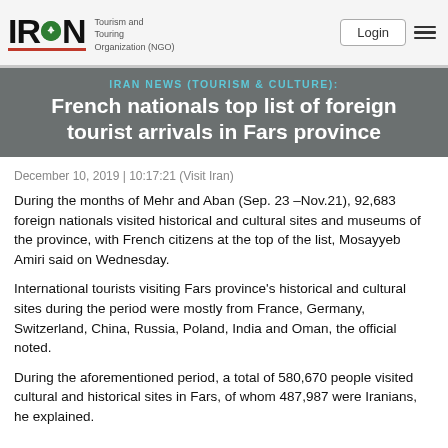IRAN Tourism and Touring Organization (NGO) | Login
French nationals top list of foreign tourist arrivals in Fars province
IRAN NEWS (TOURISM & CULTURE):
December 10, 2019 | 10:17:21 (Visit Iran)
During the months of Mehr and Aban (Sep. 23 –Nov.21), 92,683 foreign nationals visited historical and cultural sites and museums of the province, with French citizens at the top of the list, Mosayyeb Amiri said on Wednesday.
International tourists visiting Fars province's historical and cultural sites during the period were mostly from France, Germany, Switzerland, China, Russia, Poland, India and Oman, the official noted.
During the aforementioned period, a total of 580,670 people visited cultural and historical sites in Fars, of whom 487,987 were Iranians, he explained.